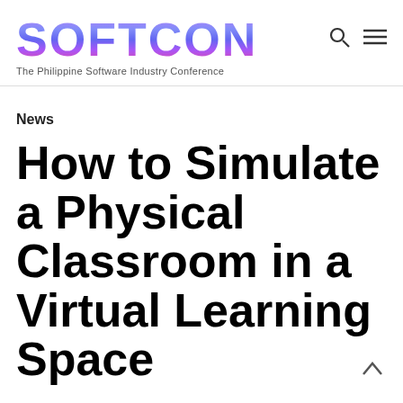[Figure (logo): SOFTCON logo with purple/blue gradient lettering]
The Philippine Software Industry Conference
News
How to Simulate a Physical Classroom in a Virtual Learning Space